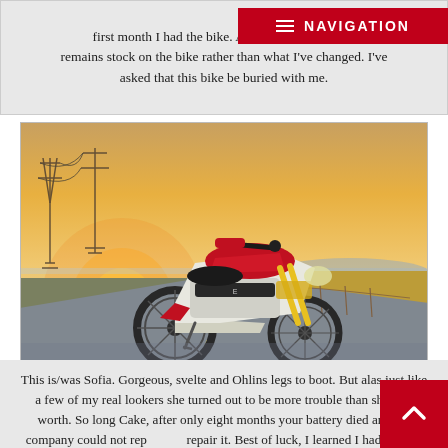first month I had the bike. And ye... remains stock on the bike rather than what I've changed. I've asked that this bike be buried with me.
[Figure (photo): A modern electric motorcycle (CAKE brand) parked on a road with dry grasslands and electric transmission towers in the background, under a warm sunset sky with orange and yellow hues.]
This is/was Sofia. Gorgeous, svelte and Ohlins legs to boot. But alas just like a few of my real lookers she turned out to be more trouble than she was worth. So long Cake, after only eight months your battery died and the company could not rep... repair it. Best of luck, I learned I had made a big mista...